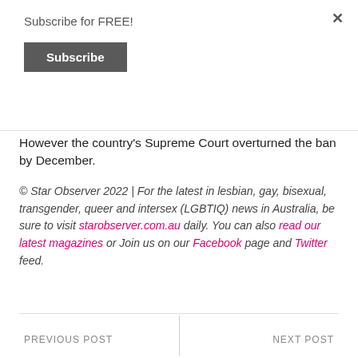Subscribe for FREE!
Subscribe
However the country's Supreme Court overturned the ban by December.
© Star Observer 2022 | For the latest in lesbian, gay, bisexual, transgender, queer and intersex (LGBTIQ) news in Australia, be sure to visit starobserver.com.au daily. You can also read our latest magazines or Join us on our Facebook page and Twitter feed.
PREVIOUS POST   NEXT POST